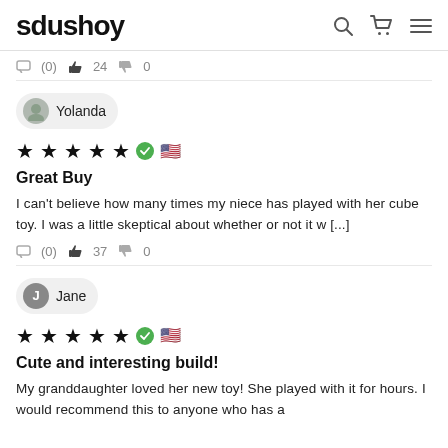sdushoy
(0)  24  0
Yolanda
★★★★★ ✓ 🇺🇸
Great Buy
I can't believe how many times my niece has played with her cube toy. I was a little skeptical about whether or not it w [...]
(0)  37  0
Jane
★★★★★ ✓ 🇺🇸
Cute and interesting build!
My granddaughter loved her new toy! She played with it for hours. I would recommend this to anyone who has a